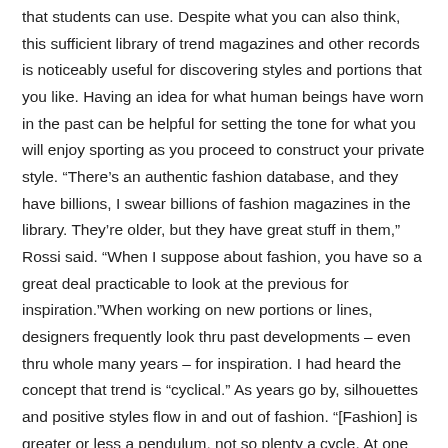that students can use. Despite what you can also think, this sufficient library of trend magazines and other records is noticeably useful for discovering styles and portions that you like. Having an idea for what human beings have worn in the past can be helpful for setting the tone for what you will enjoy sporting as you proceed to construct your private style. “There’s an authentic fashion database, and they have billions, I swear billions of fashion magazines in the library. They’re older, but they have great stuff in them,” Rossi said. “When I suppose about fashion, you have so a great deal practicable to look at the previous for inspiration.”When working on new portions or lines, designers frequently look thru past developments – even thru whole many years – for inspiration. I had heard the concept that trend is “cyclical.” As years go by, silhouettes and positive styles flow in and out of fashion. “[Fashion] is greater or less a pendulum, not so plenty a cycle. At one end, you have some thing that is very skin-tight or possibly displaying a lot of skin,” Rossi said. “The different side of the pendulum covers extra of your body. It may also have a fuller silhouette. And